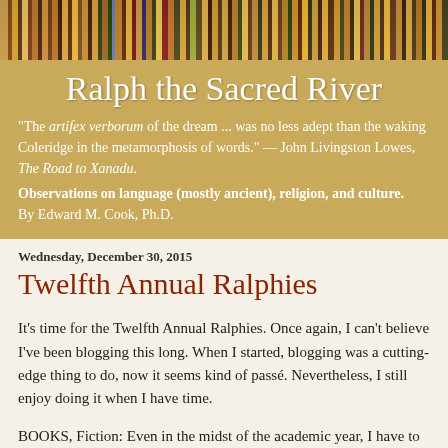[Figure (photo): Colorful bookshelf with many books arranged horizontally, viewed from the side, serving as the header image for the blog.]
Ralph the Sacred River
"The artifex verborum of the dream ... was no less adept than the waking Coleridge in the metamorphosis of words." — John Livingston Lowes, The Road to Xanadu.
Observations on language (mostly ancient), religion, and culture.
By Edward M. Cook, Ph.D.
Wednesday, December 30, 2015
Twelfth Annual Ralphies
It's time for the Twelfth Annual Ralphies.  Once again, I can't believe I've been blogging this long.  When I started, blogging was a cutting-edge thing to do, now it seems kind of passé.  Nevertheless, I still enjoy doing it when I have time.
BOOKS, Fiction:  Even in the midst of the academic year, I have to have a novel to read; it's a lifelong habit that I'm not likely to